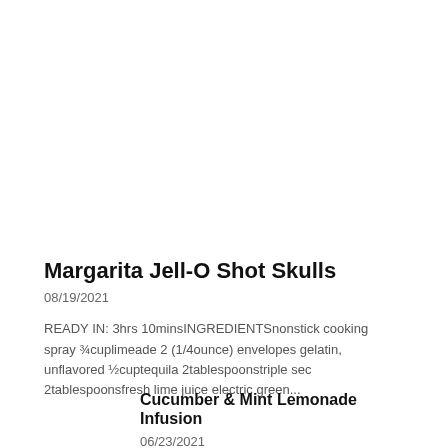Margarita Jell-O Shot Skulls
08/19/2021
READY IN: 3hrs 10minsINGREDIENTSnonstick cooking spray ¾cuplimeade 2 (1/4ounce) envelopes gelatin, unflavored ½cuptequila 2tablespoonstriple sec 2tablespoonsfresh lime juice electric green...
Cucumber & Mint Lemonade Infusion
06/23/2021